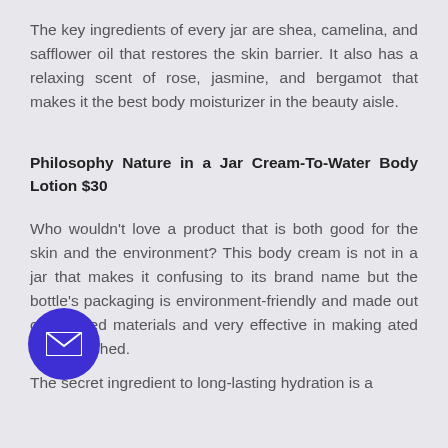The key ingredients of every jar are shea, camelina, and safflower oil that restores the skin barrier. It also has a relaxing scent of rose, jasmine, and bergamot that makes it the best body moisturizer in the beauty aisle.
Philosophy Nature in a Jar Cream-To-Water Body Lotion $30
Who wouldn't love a product that is both good for the skin and the environment? This body cream is not in a jar that makes it confusing to its brand name but the bottle's packaging is environment-friendly and made out of recycled materials and very effective in making ated and refreshed.
The secret ingredient to long-lasting hydration is a
[Figure (other): Purple circular email/contact button with white envelope icon, positioned in lower-left area overlapping text]